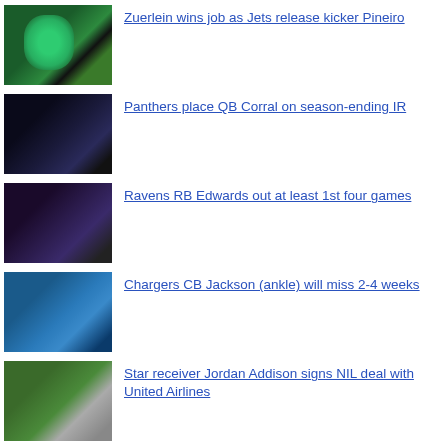[Figure (photo): Football player in green Jets uniform kicking]
Zuerlein wins job as Jets release kicker Pineiro
[Figure (photo): Panthers QB Corral in black uniform throwing]
Panthers place QB Corral on season-ending IR
[Figure (photo): Ravens RB Edwards running with ball]
Ravens RB Edwards out at least 1st four games
[Figure (photo): Chargers CB Jackson in light blue uniform]
Chargers CB Jackson (ankle) will miss 2-4 weeks
[Figure (photo): Star receiver Jordan Addison near airplane]
Star receiver Jordan Addison signs NIL deal with United Airlines